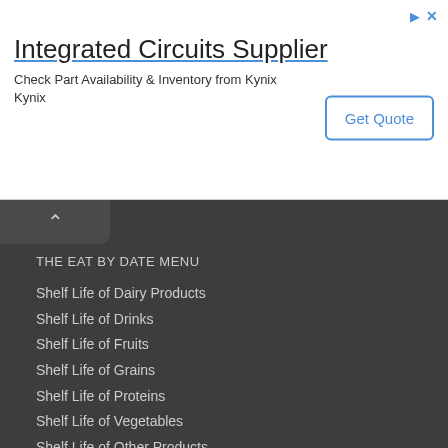[Figure (screenshot): Advertisement banner for Integrated Circuits Supplier - Kynix, with Get Quote button]
THE EAT BY DATE MENU
Shelf Life of Dairy Products
Shelf Life of Drinks
Shelf Life of Fruits
Shelf Life of Grains
Shelf Life of Proteins
Shelf Life of Vegetables
Shelf Life of Other Products
SHELF LIFE DEFINITIONS
Definition of Use-By Date
Definition of Sell-By Date